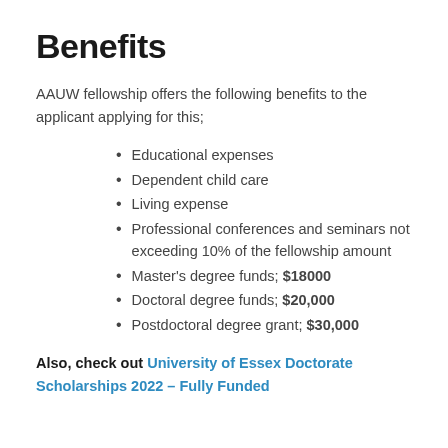Benefits
AAUW fellowship offers the following benefits to the applicant applying for this;
Educational expenses
Dependent child care
Living expense
Professional conferences and seminars not exceeding 10% of the fellowship amount
Master's degree funds; $18000
Doctoral degree funds; $20,000
Postdoctoral degree grant; $30,000
Also, check out University of Essex Doctorate Scholarships 2022 – Fully Funded